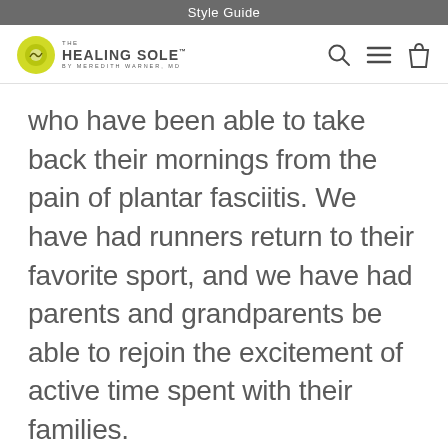Style Guide
[Figure (logo): The Healing Sole by Meredith Warner, MD logo with yellow/green circular icon and navigation icons (search, menu, bag)]
who have been able to take back their mornings from the pain of plantar fasciitis. We have had runners return to their favorite sport, and we have had parents and grandparents be able to rejoin the excitement of active time spent with their families.